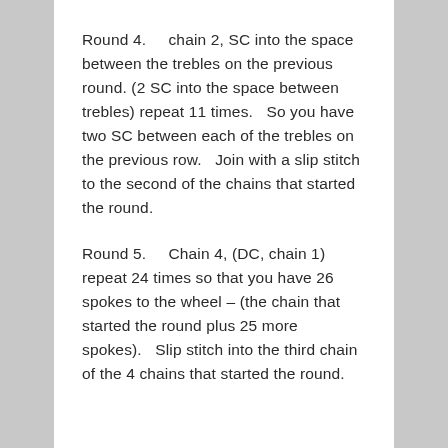Round 4.    chain 2, SC into the space between the trebles on the previous round. (2 SC into the space between trebles) repeat 11 times.   So you have two SC between each of the trebles on the previous row.   Join with a slip stitch to the second of the chains that started the round.
Round 5.    Chain 4, (DC, chain 1) repeat 24 times so that you have 26 spokes to the wheel – (the chain that started the round plus 25 more spokes).   Slip stitch into the third chain of the 4 chains that started the round.